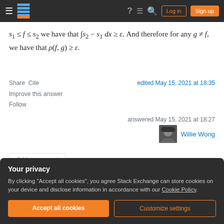Stack Exchange navigation bar with hamburger menu, logo, help, chat, search, Log in, Sign up
s₁ ≤ f ≤ s₂ we have that ∫s₂ − s₁ dx ≥ ε. And therefore for any g ≠ f, we have that ρ(f, g) ≥ ε.
Share  Cite
edited May 15, 2021 at 18:35
Improve this answer
Follow
answered May 15, 2021 at 18:27
Willie Wong
Add a comment
Your privacy
By clicking "Accept all cookies", you agree Stack Exchange can store cookies on your device and disclose information in accordance with our Cookie Policy.
Accept all cookies
Customize settings